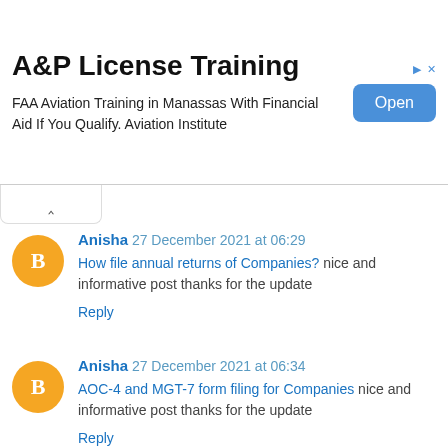[Figure (other): Advertisement banner: A&P License Training. FAA Aviation Training in Manassas With Financial Aid If You Qualify. Aviation Institute. Open button.]
Anisha 27 December 2021 at 06:29
How file annual returns of Companies? nice and informative post thanks for the update
Reply
Anisha 27 December 2021 at 06:34
AOC-4 and MGT-7 form filing for Companies nice and informative post thanks for the update
Reply
Digital Signage 27 December 2021 at 22:39
is paraben bad for skin I read this post your post so quite